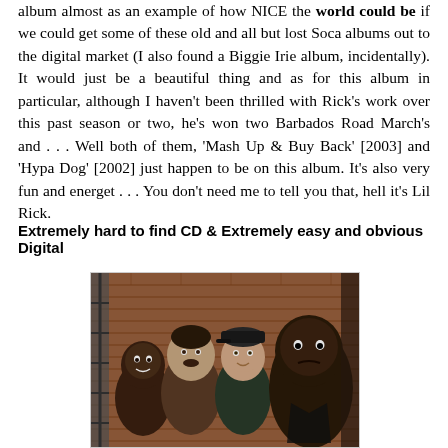album almost as an example of how NICE the world could be if we could get some of these old and all but lost Soca albums out to the digital market (I also found a Biggie Irie album, incidentally). It would just be a beautiful thing and as for this album in particular, although I haven't been thrilled with Rick's work over this past season or two, he's won two Barbados Road March's and . . . Well both of them, 'Mash Up & Buy Back' [2003] and 'Hypa Dog' [2002] just happen to be on this album. It's also very fun and energet . . . You don't need me to tell you that, hell it's Lil Rick.
Extremely hard to find CD & Extremely easy and obvious Digital
[Figure (photo): Group photo of four men standing in an alley against a brick wall]